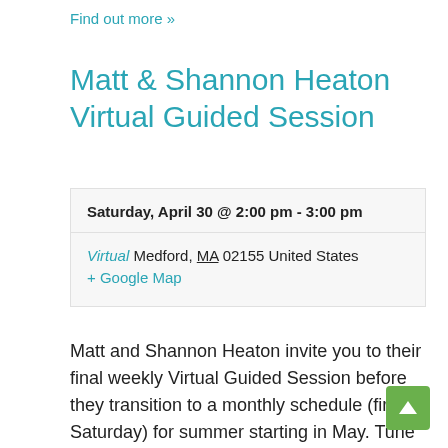Find out more »
Matt & Shannon Heaton Virtual Guided Session
| Saturday, April 30 @ 2:00 pm - 3:00 pm |
| Virtual Medford, MA 02155 United States
+ Google Map |
Matt and Shannon Heaton invite you to their final weekly Virtual Guided Session before they transition to a monthly schedule (first Saturday) for summer starting in May. Tune learners, second instrument players, or anyone who just enjoys traditional Irish music are invited to this mid-tempo session of Irish tunes. All are welcome to play along, say hi, and share